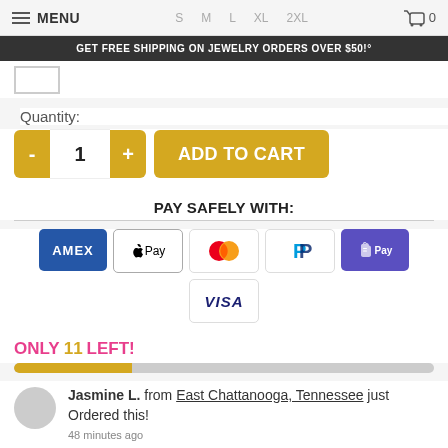MENU  S  M  L  XL  2XL  🛒 0
GET FREE SHIPPING ON JEWELRY ORDERS OVER $50!°
Quantity:
- 1 +  ADD TO CART
PAY SAFELY WITH:
[Figure (infographic): Payment method icons: AMEX, Apple Pay, Mastercard, PayPal, Shopify Pay, VISA]
ONLY 11 LEFT!
Jasmine L. from East Chattanooga, Tennessee just Ordered this! 48 minutes ago